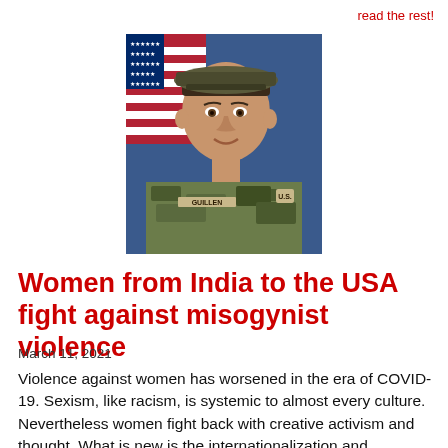read the rest!
[Figure (photo): Military portrait of a young woman in camouflage uniform with name tag reading GUILLEN, against an American flag background.]
Women from India to the USA fight against misogynist violence
March 11, 2021
Violence against women has worsened in the era of COVID-19. Sexism, like racism, is systemic to almost every culture. Nevertheless women fight back with creative activism and thought. What is new is the internationalization and deepening of that struggle. This